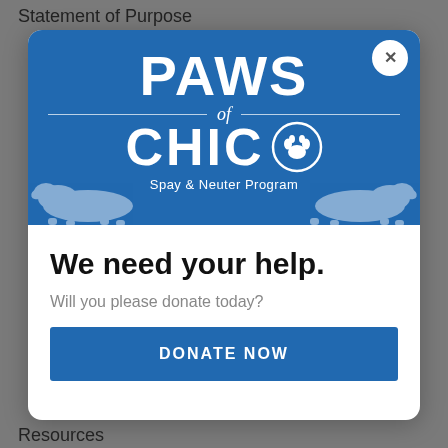Statement of Purpose
[Figure (logo): PAWS of Chico Spay & Neuter Program logo on blue background with white dog illustrations, inside a modal popup with close button]
We need your help.
Will you please donate today?
DONATE NOW
Resources